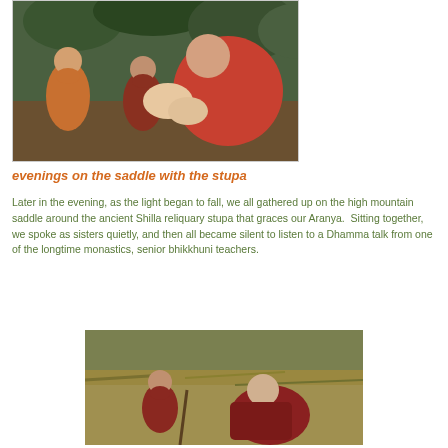[Figure (photo): Three Buddhist monastics in orange/red robes seated outdoors among trees, one gesturing with hands while speaking]
evenings on the saddle with the stupa
Later in the evening, as the light began to fall, we all gathered up on the high mountain saddle around the ancient Shilla reliquary stupa that graces our Aranya.  Sitting together, we spoke as sisters quietly, and then all became silent to listen to a Dhamma talk from one of the longtime monastics, senior bhikkhuni teachers.
[Figure (photo): Buddhist monastics in red/maroon robes seated outdoors in a mountain meadow setting, one viewed from behind]